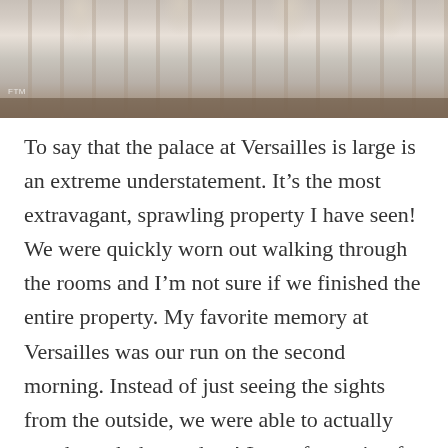[Figure (photo): Interior of the Palace of Versailles showing ornate chandeliers and gilded hall architecture, viewed from below]
To say that the palace at Versailles is large is an extreme understatement. It’s the most extravagant, sprawling property I have seen! We were quickly worn out walking through the rooms and I’m not sure if we finished the entire property. My favorite memory at Versailles was our run on the second morning. Instead of just seeing the sights from the outside, we were able to actually run through the gardens! Lots of stopping for photos along the way, but an incredible way to see the